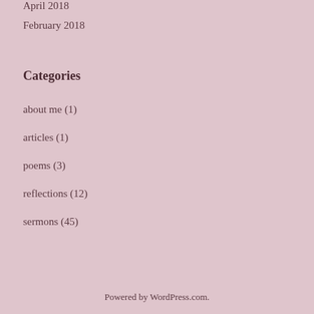April 2018
February 2018
Categories
about me (1)
articles (1)
poems (3)
reflections (12)
sermons (45)
Powered by WordPress.com.